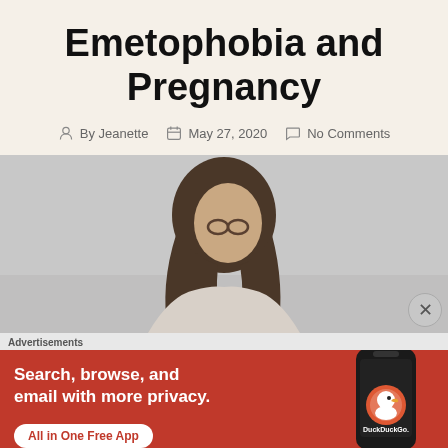Emetophobia and Pregnancy
By Jeanette   May 27, 2020   No Comments
[Figure (photo): Woman with long brown hair and glasses, photographed from behind/side against a grey background]
Advertisements
[Figure (screenshot): DuckDuckGo advertisement: 'Search, browse, and email with more privacy. All in One Free App' with image of smartphone showing DuckDuckGo app]